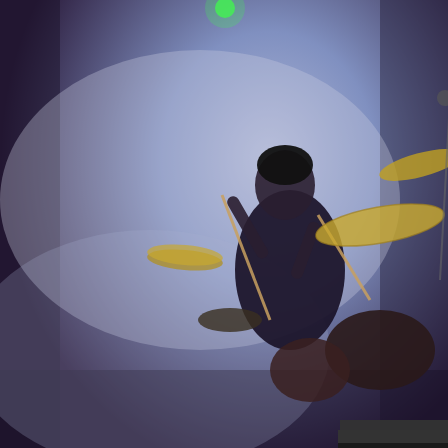[Figure (screenshot): Screenshot of a webpage showing a drummer on stage in a smoky blue-lit venue, with a 'Browser not compatible' modal dialog overlaid. The modal has a dark/black background with white bold text 'Browser not compatible', subtitle 'You may need to update your browser', a cyan underlined link 'Report ID: 1gbgsegd838eu2v9ela', and an 'X' close button in the top right. Below the photo is a byline 'Mantas Hesthaven', partial article text, and a Lidl advertisement.]